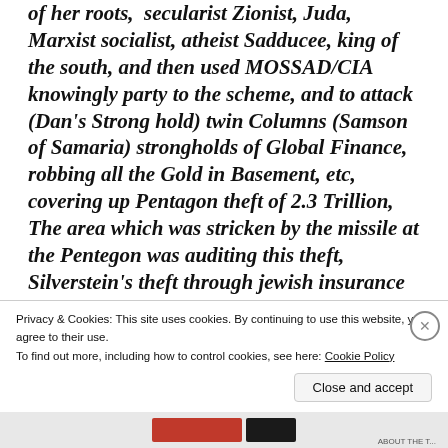And, After church, stood up out of the craition of her roots, secularist Zionist, Juda, Marxist socialist, atheist Sadducee, king of the south, and then used MOSSAD/CIA knowingly party to the scheme, and to attack (Dan's Strong hold) twin Columns (Samson of Samaria) strongholds of Global Finance, robbing all the Gold in Basement, etc, covering up Pentagon theft of 2.3 Trillion, The area which was stricken by the missile at the Pentegon was auditing this theft, Silverstein's theft through jewish insurance agencies, insider trading
Privacy & Cookies: This site uses cookies. By continuing to use this website, you agree to their use.
To find out more, including how to control cookies, see here: Cookie Policy
Close and accept